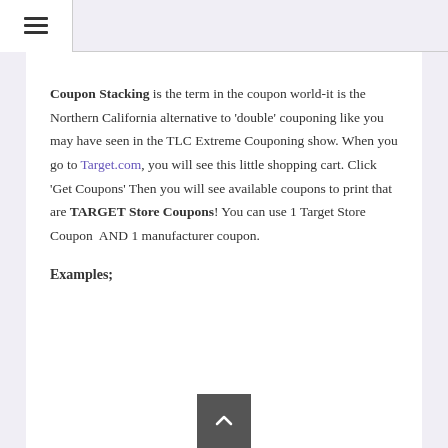☰
Coupon Stacking is the term in the coupon world-it is the Northern California alternative to 'double' couponing like you may have seen in the TLC Extreme Couponing show. When you go to Target.com, you will see this little shopping cart. Click 'Get Coupons' Then you will see available coupons to print that are TARGET Store Coupons! You can use 1 Target Store Coupon  AND 1 manufacturer coupon.
Examples;